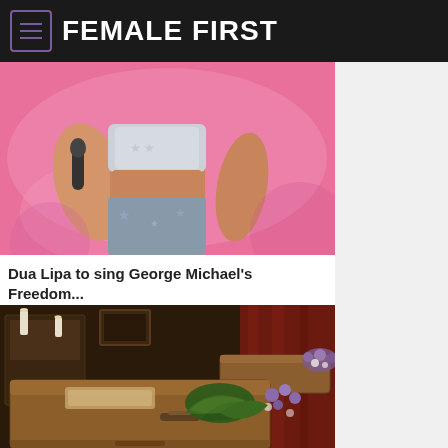FEMALE FIRST
[Figure (photo): Partial view of a performer on stage wearing a crop top and patterned shorts, against a pink background]
Dua Lipa to sing George Michael's Freedom...
[Figure (photo): Funeral home interior showing wooden coffins with floral arrangements including purple flowers on top]